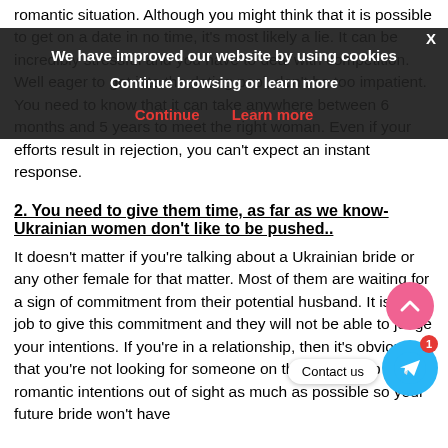romantic situation. Although you might think that it is possible to get on a date in no time, it’s most likely a lie. It can be incredibly stressful and you have to deal with competition. Well eager to get into the dating pool, don’t be too impatient. You need to know that it can take anywhere between 6 months and 5 years to meet the right woman. Even if your efforts result in rejection, you can’t expect an instant response.
We have improved our website by using cookies
Continue browsing or learn more
Continue    Learn more
2. You need to give them time, as far as we know- Ukrainian women don’t like to be pushed..
It doesn’t matter if you’re talking about a Ukrainian bride or any other female for that matter. Most of them are waiting for a sign of commitment from their potential husband. It is your job to give this commitment and they will not be able to judge your intentions. If you’re in a relationship, then it’s obvious that you’re not looking for someone on the side. Keep your romantic intentions out of sight as much as possible so your future bride won’t have
[Figure (other): Cookie consent banner overlay with dark background, bold white text saying 'We have improved our website by using cookies' and 'Continue browsing or learn more', with red 'Continue' and 'Learn more' buttons, and an X close button]
[Figure (other): Pink circular scroll-up chevron button on the right side]
[Figure (other): Blue Telegram circular button with notification badge showing 1, and 'Contact us' tooltip label]